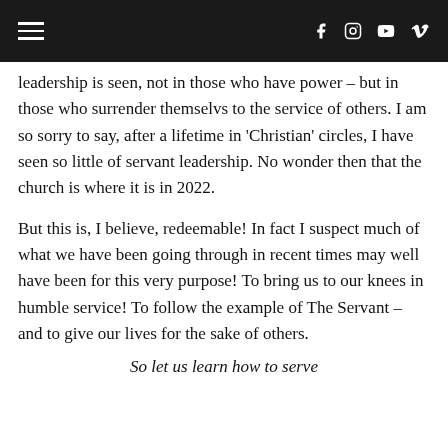navigation bar with hamburger menu and social icons (Facebook, Instagram, YouTube, Vimeo)
leadership is seen, not in those who have power – but in those who surrender themselvs to the service of others. I am so sorry to say, after a lifetime in 'Christian' circles, I have seen so little of servant leadership. No wonder then that the church is where it is in 2022.
But this is, I believe, redeemable! In fact I suspect much of what we have been going through in recent times may well have been for this very purpose! To bring us to our knees in humble service! To follow the example of The Servant – and to give our lives for the sake of others.
So let us learn how to serve